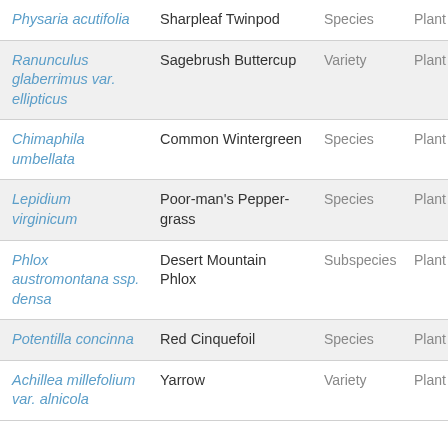| Scientific Name | Common Name | Rank | Kingdom |
| --- | --- | --- | --- |
| Physaria acutifolia | Sharpleaf Twinpod | Species | Plant |
| Ranunculus glaberrimus var. ellipticus | Sagebrush Buttercup | Variety | Plant |
| Chimaphila umbellata | Common Wintergreen | Species | Plant |
| Lepidium virginicum | Poor-man's Pepper-grass | Species | Plant |
| Phlox austromontana ssp. densa | Desert Mountain Phlox | Subspecies | Plant |
| Potentilla concinna | Red Cinquefoil | Species | Plant |
| Achillea millefolium var. alnicola | Yarrow | Variety | Plant |